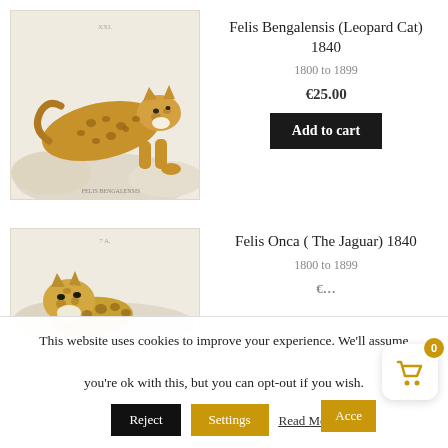[Figure (illustration): Vintage engraving of a leopard cat (Felis Bengalensis) in a crouching/stalking pose, colored illustration on aged paper background, labeled 'FELIS BENGALENSIS' at bottom right]
Felis Bengalensis (Leopard Cat) 1840
1800 to 1899
€25.00
Add to cart
[Figure (illustration): Vintage engraving of a jaguar (Felis Onca) partially visible, head and upper body, on aged paper background]
Felis Onca ( The Jaguar) 1840
1800 to 1899
This website uses cookies to improve your experience. We'll assume you're ok with this, but you can opt-out if you wish.
Reject
Settings
Read More